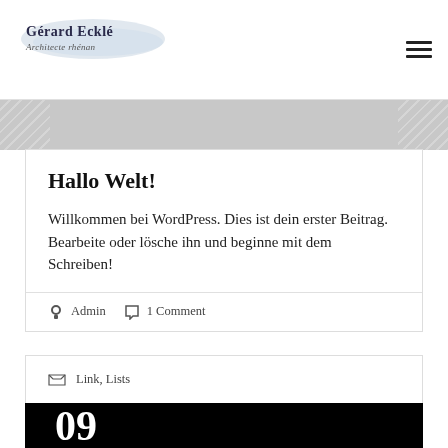Gérard Ecklé — Architecte rhénan
Hallo Welt!
Willkommen bei WordPress. Dies ist dein erster Beitrag. Bearbeite oder lösche ihn und beginne mit dem Schreiben!
Admin  1 Comment
Link, Lists
09